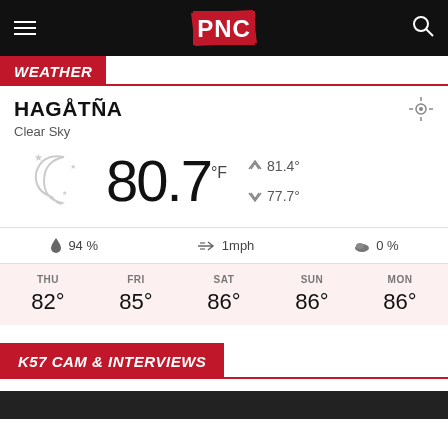PNC
WEATHER
HAGÅTÑA
Clear Sky
80.7 °F  ▲ 81.4°  ▼ 77.7°
💧 94 %   ⇒ 1mph   ☁ 0 %
| THU | FRI | SAT | SUN | MON |
| --- | --- | --- | --- | --- |
| 82° | 85° | 86° | 86° | 86° |
K57 CAM & INTERVIEWS